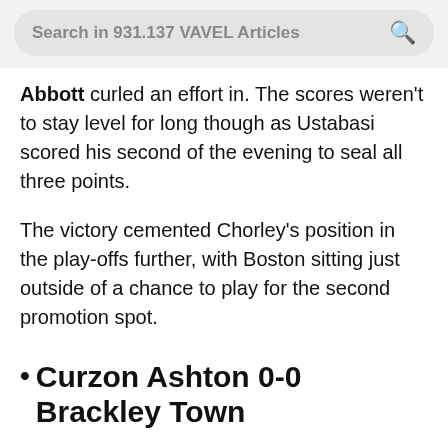Search in 931.137 VAVEL Articles
Abbott curled an effort in. The scores weren't to stay level for long though as Ustabasi scored his second of the evening to seal all three points.
The victory cemented Chorley's position in the play-offs further, with Boston sitting just outside of a chance to play for the second promotion spot.
Curzon Ashton 0-0 Brackley Town
Brackley Town failed to fully take advantage of